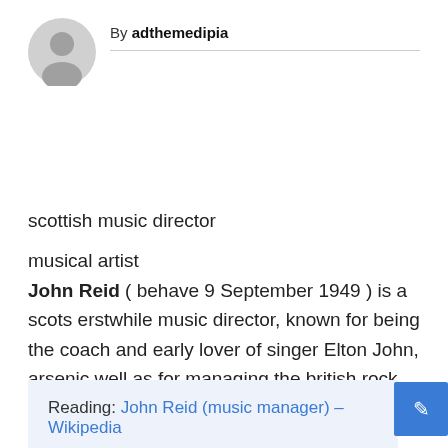[Figure (illustration): Generic gray user avatar circle icon]
By adthemedipia
scottish music director
musical artist
John Reid ( behave 9 September 1949 ) is a scots erstwhile music director, known for being the coach and early lover of singer Elton John, arsenic well as for managing the british rock band Queen.
Reading: John Reid (music manager) – Wikipedia